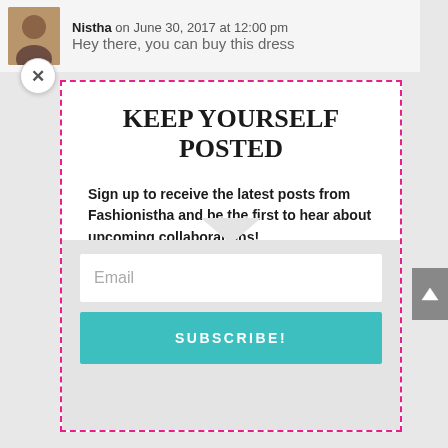Nistha on June 30, 2017 at 12:00 pm — Hey there, you can buy this dress
KEEP YOURSELF POSTED
Sign up to receive the latest posts from Fashionistha and be the first to hear about upcoming collaborations!
Email
SUBSCRIBE!